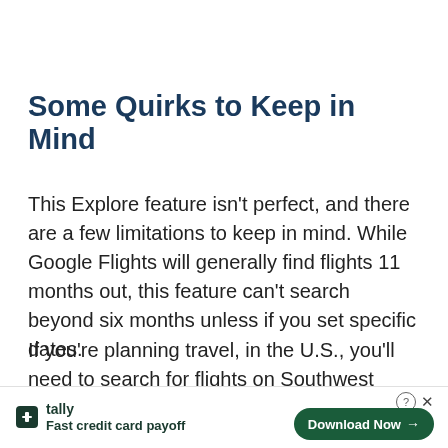Some Quirks to Keep in Mind
This Explore feature isn't perfect, and there are a few limitations to keep in mind. While Google Flights will generally find flights 11 months out, this feature can't search beyond six months unless if you set specific dates.
If you're planning travel, in the U.S., you'll need to search for flights on Southwest Airlines separately. Just like with the standard Google Flights search
engine … best bet fo … s is
[Figure (other): Advertisement banner for Tally app. Logo icon on left, brand name 'tally' and tagline 'Fast credit card payoff'. On the right, a 'Download Now →' button with help (?) and close (×) icons above.]